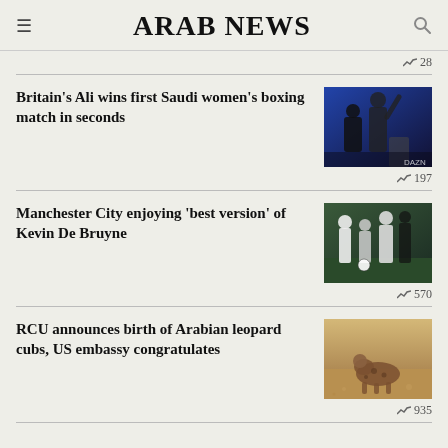ARAB NEWS
28
Britain's Ali wins first Saudi women's boxing match in seconds
[Figure (photo): Boxing match photo with fighters in ring, blue arena background]
197
Manchester City enjoying 'best version' of Kevin De Bruyne
[Figure (photo): Soccer players on field, appears to be post-match]
570
RCU announces birth of Arabian leopard cubs, US embassy congratulates
[Figure (photo): Arabian leopard cubs on sandy ground]
935